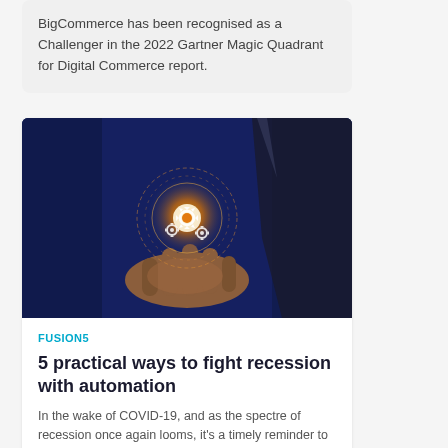BigCommerce has been recognised as a Challenger in the 2022 Gartner Magic Quadrant for Digital Commerce report.
[Figure (photo): A person in a dark suit holding glowing gear icons on a digital interface above their outstretched hand, against a blue background]
FUSION5
5 practical ways to fight recession with automation
In the wake of COVID-19, and as the spectre of recession once again looms, it's a timely reminder to review